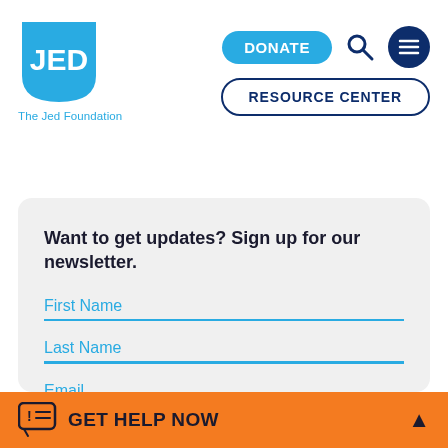[Figure (logo): JED Foundation logo: blue shield shape with 'JED' text in white, and 'The Jed Foundation' text below in light blue]
[Figure (infographic): Navigation bar with DONATE button (cyan pill), search icon, hamburger menu icon (dark navy circle), and RESOURCE CENTER button (navy outline pill)]
Want to get updates? Sign up for our newsletter.
First Name
Last Name
Email
GET HELP NOW